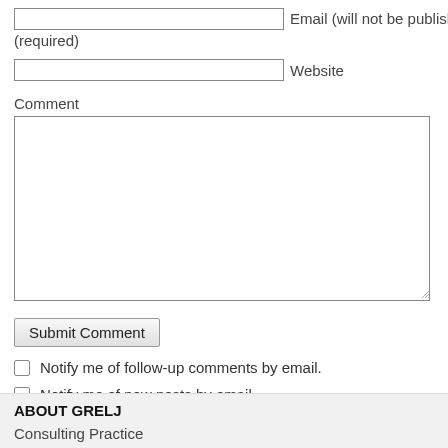Email (will not be published) (required)
Website
Comment
Submit Comment
Notify me of follow-up comments by email.
Notify me of new posts by email.
ABOUT GRELJ
Consulting Practice